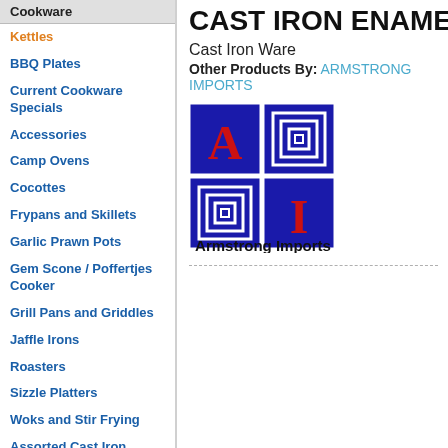Cookware
Kettles
BBQ Plates
Current Cookware Specials
Accessories
Camp Ovens
Cocottes
Frypans and Skillets
Garlic Prawn Pots
Gem Scone / Poffertjes Cooker
Grill Pans and Griddles
Jaffle Irons
Roasters
Sizzle Platters
Woks and Stir Frying
Assorted Cast Iron Products
Casserole Dishes
Cast Iron Products
Chef's Pans
Cookware Sets
CAST IRON ENAMELLE
Cast Iron Ware
Other Products By: ARMSTRONG IMPORTS
[Figure (logo): Armstrong Imports logo: a 2x2 grid of dark blue squares. Top-left square contains a red letter A, top-right square contains a nested square pattern, bottom-left contains a nested square pattern, bottom-right contains a red letter I. Below the grid reads 'Armstrong Imports' in bold black serif text.]